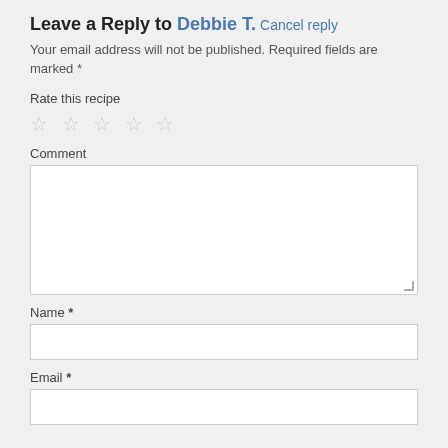Leave a Reply to Debbie T. Cancel reply
Your email address will not be published. Required fields are marked *
Rate this recipe
[Figure (other): Five empty star rating icons]
Comment
[Figure (other): Large empty comment textarea with resize handle]
Name *
[Figure (other): Single-line text input for Name]
Email *
[Figure (other): Single-line text input for Email]